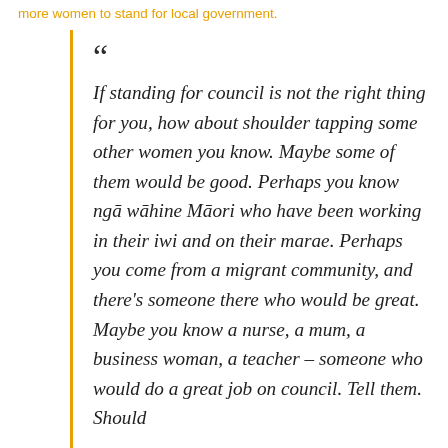more women to stand for local government.
“ If standing for council is not the right thing for you, how about shoulder tapping some other women you know. Maybe some of them would be good. Perhaps you know ngā wāhine Māori who have been working in their iwi and on their marae. Perhaps you come from a migrant community, and there’s someone there who would be great. Maybe you know a nurse, a mum, a business woman, a teacher – someone who would do a great job on council. Tell them. Should...